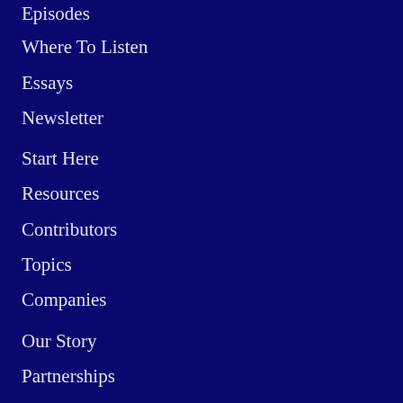Episodes
Where To Listen
Essays
Newsletter
Start Here
Resources
Contributors
Topics
Companies
Our Story
Partnerships
Jobs in African Tech